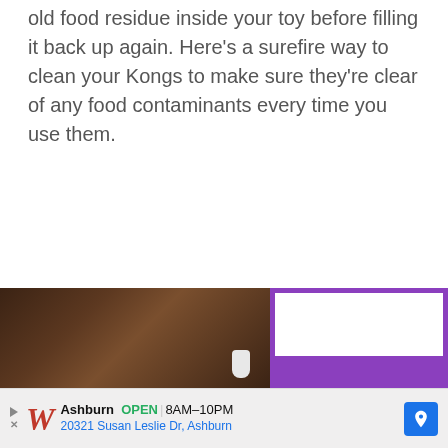old food residue inside your toy before filling it back up again. Here's a surefire way to clean your Kongs to make sure they're clear of any food contaminants every time you use them.
[Figure (photo): Photo showing a dark wooden surface on the left half, and a purple bordered box with white interior on the right half — appears to be a partially visible webpage image.]
[Figure (infographic): Advertisement bar for Walgreens showing the Walgreens 'W' logo, Ashburn location, OPEN status, hours 8AM-10PM, address 20321 Susan Leslie Dr, Ashburn, and a blue navigation arrow icon.]